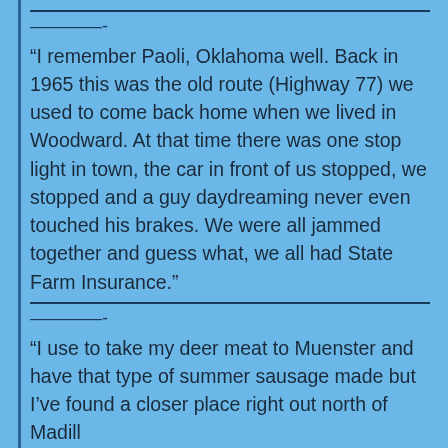——————————————————————————————
————-
“I remember Paoli, Oklahoma well. Back in 1965 this was the old route (Highway 77) we used to come back home when we lived in Woodward. At that time there was one stop light in town, the car in front of us stopped, we stopped and a guy daydreaming never even touched his brakes. We were all jammed together and guess what, we all had State Farm Insurance.”
——————————————————————————————
————-
“I use to take my deer meat to Muenster and have that type of summer sausage made but I’ve found a closer place right out north of Madill